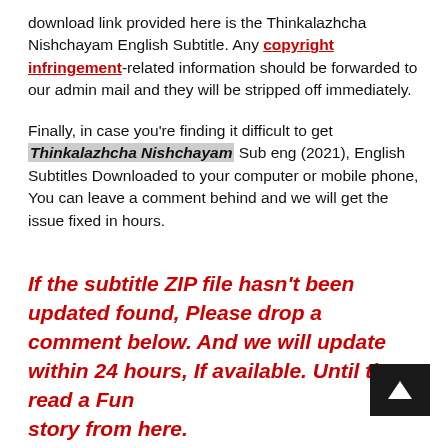download link provided here is the Thinkalazhcha Nishchayam English Subtitle. Any copyright infringement-related information should be forwarded to our admin mail and they will be stripped off immediately.
Finally, in case you're finding it difficult to get Thinkalazhcha Nishchayam Sub eng (2021), English Subtitles Downloaded to your computer or mobile phone, You can leave a comment behind and we will get the issue fixed in hours.
If the subtitle ZIP file hasn't been updated found, Please drop a comment below. And we will update within 24 hours, If available. Until then read a Funny story from here.